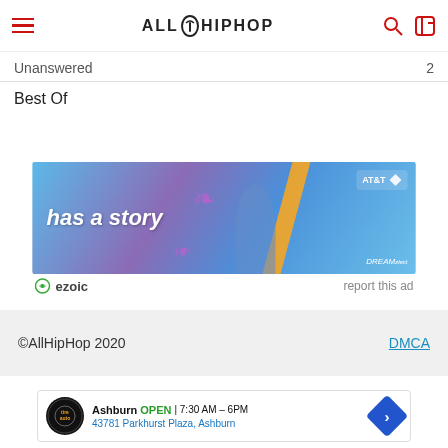AllHipHop navigation bar
Unanswered
Best Of
[Figure (screenshot): AT&T DIRECTV STREAM advertisement banner with text 'has a story' and three people, purple/blue background]
ezoic   report this ad
©AllHipHop 2020   DMCA
[Figure (screenshot): Tires Plus auto service local listing card for Ashburn location, OPEN 7:30AM-6PM, 43781 Parkhurst Plaza, Ashburn]